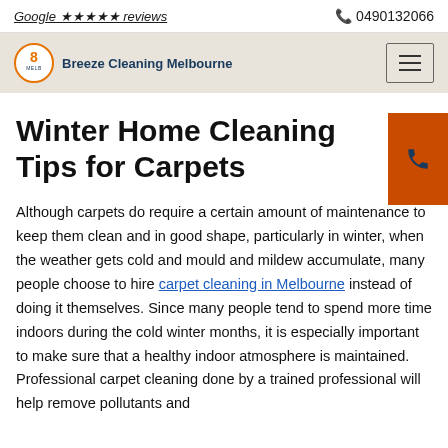Google ★★★★★ reviews   📞 0490132066
[Figure (logo): Breeze Cleaning Melbourne logo with circular badge and navigation hamburger menu]
Winter Home Cleaning Tips for Carpets
Although carpets do require a certain amount of maintenance to keep them clean and in good shape, particularly in winter, when the weather gets cold and mould and mildew accumulate, many people choose to hire carpet cleaning in Melbourne instead of doing it themselves. Since many people tend to spend more time indoors during the cold winter months, it is especially important to make sure that a healthy indoor atmosphere is maintained. Professional carpet cleaning done by a trained professional will help remove pollutants and